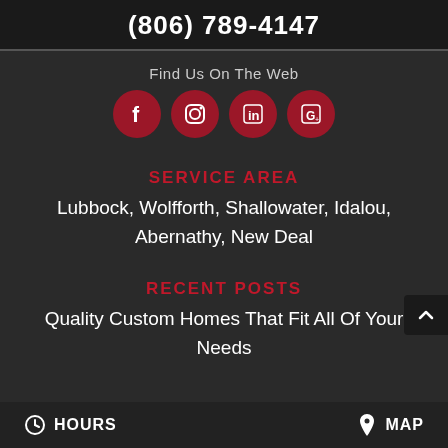(806) 789-4147
Find Us On The Web
[Figure (infographic): Four social media icon circles in dark red: Facebook, another social icon, LinkedIn (in), and Google (G)]
SERVICE AREA
Lubbock, Wolfforth, Shallowater, Idalou, Abernathy, New Deal
RECENT POSTS
Quality Custom Homes That Fit All Of Your Needs
HOURS    MAP